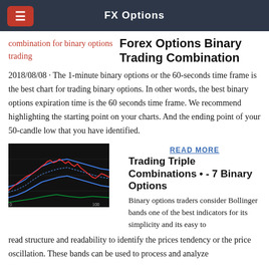FX Options
combination for binary options trading
Forex Options Binary Trading Combination
2018/08/08 · The 1-minute binary options or the 60-seconds time frame is the best chart for trading binary options. In other words, the best binary options expiration time is the 60 seconds time frame. We recommend highlighting the starting point on your charts. And the ending point of your 50-candle low that you have identified.
[Figure (screenshot): Financial chart showing price action with Bollinger bands and moving averages on a dark background]
READ MORE
Trading Triple Combinations • - 7 Binary Options
Binary options traders consider Bollinger bands one of the best indicators for its simplicity and its easy to read structure and readability to identify the prices tendency or the price oscillation. These bands can be used to process and analyze